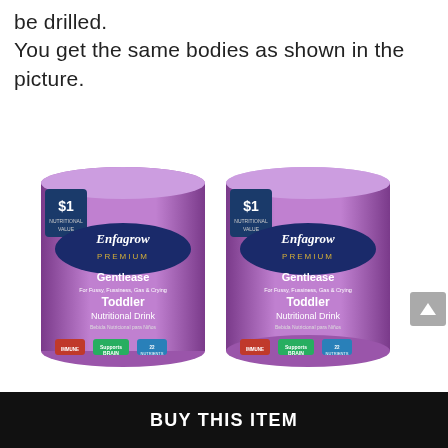be drilled. You get the same bodies as shown in the picture.
[Figure (photo): Four purple cans of Enfagrow Premium Gentlease Toddler Nutritional Drink arranged in a 2x2 grid. Each can is labeled with '$1' offer badge, brand name Enfagrow, PREMIUM, Gentlease, Toddler Nutritional Drink, with colorful icons for Immune Health, Brain support, and 22 nutrients at the bottom.]
BUY THIS ITEM